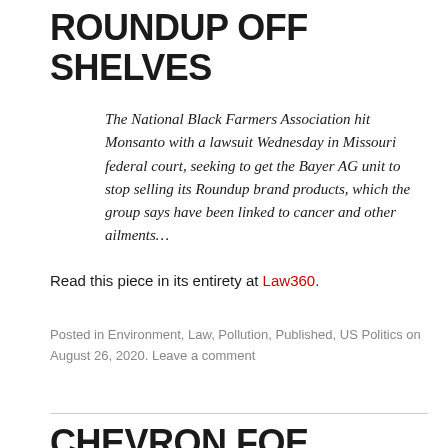ROUNDUP OFF SHELVES
The National Black Farmers Association hit Monsanto with a lawsuit Wednesday in Missouri federal court, seeking to get the Bayer AG unit to stop selling its Roundup brand products, which the group says have been linked to cancer and other ailments…
Read this piece in its entirety at Law360.
Posted in Environment, Law, Pollution, Published, US Politics on August 26, 2020. Leave a comment
CHEVRON FOE DONZIGER